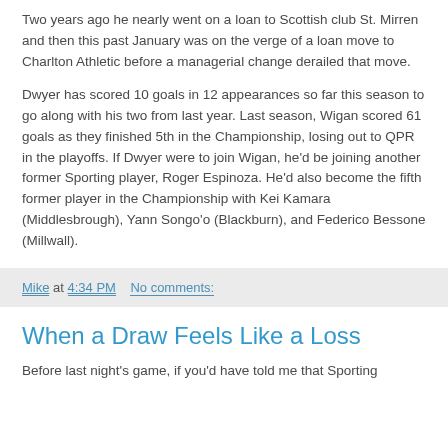Two years ago he nearly went on a loan to Scottish club St. Mirren and then this past January was on the verge of a loan move to Charlton Athletic before a managerial change derailed that move.
Dwyer has scored 10 goals in 12 appearances so far this season to go along with his two from last year. Last season, Wigan scored 61 goals as they finished 5th in the Championship, losing out to QPR in the playoffs. If Dwyer were to join Wigan, he'd be joining another former Sporting player, Roger Espinoza. He'd also become the fifth former player in the Championship with Kei Kamara (Middlesbrough), Yann Songo'o (Blackburn), and Federico Bessone (Millwall).
Mike at 4:34 PM    No comments:
When a Draw Feels Like a Loss
Before last night's game, if you'd have told me that Sporting